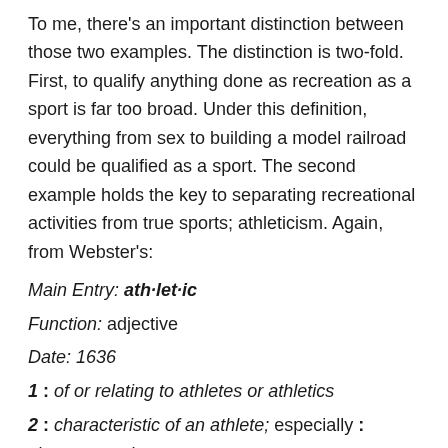To me, there's an important distinction between those two examples. The distinction is two-fold. First, to qualify anything done as recreation as a sport is far too broad. Under this definition, everything from sex to building a model railroad could be qualified as a sport. The second example holds the key to separating recreational activities from true sports; athleticism. Again, from Webster's:
Main Entry: ath·let·ic
Function: adjective
Date: 1636
1 : of or relating to athletes or athletics
2 : characteristic of an athlete; especially : vigorous, active
The second example for Webster's defintion of athletic